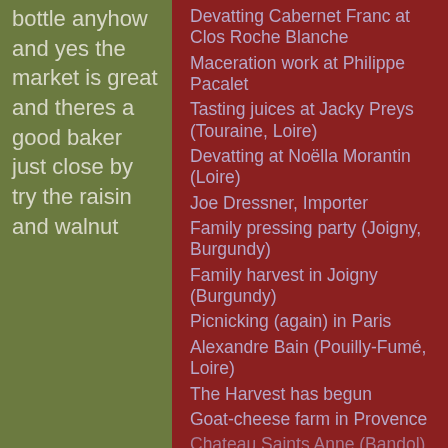bottle anyhow and yes the market is great and theres a good baker just close by try the raisin and walnut
Devatting Cabernet Franc at Clos Roche Blanche
Maceration work at Philippe Pacalet
Tasting juices at Jacky Preys (Touraine, Loire)
Devatting at Noëlla Morantin (Loire)
Joe Dressner, Importer
Family pressing party (Joigny, Burgundy)
Family harvest in Joigny (Burgundy)
Picnicking (again) in Paris
Alexandre Bain (Pouilly-Fumé, Loire)
The Harvest has begun
Goat-cheese farm in Provence
Chateau Saints Anne (Bandol)